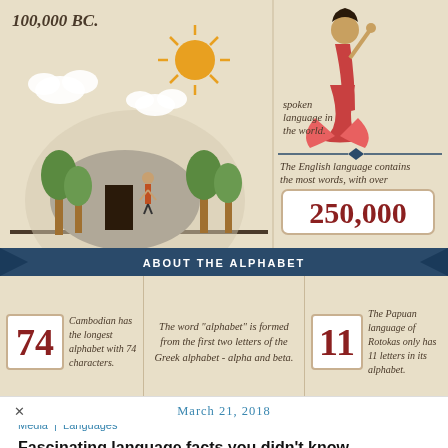[Figure (infographic): Top portion of a language infographic with a prehistoric scene (sun, trees, hut, figure) and text '100,000 BC.' on the left, and a flamenco dancer illustration on the right with text about Spanish being a spoken language and English having 250,000 words.]
100,000 BC.
spoken language in the world.
The English language contains the most words, with over
250,000
ABOUT THE ALPHABET
74 — Cambodian has the longest alphabet with 74 characters.
The word "alphabet" is formed from the first two letters of the Greek alphabet - alpha and beta.
11 — The Papuan language of Rotokas only has 11 letters in its alphabet.
Media | Languages
Fascinating language facts you didn't know
It's no surprise, we love languages. Whether a language is spoken by many or few, it is important and contributes to the wonderful diversity of society. Learning more about these languages helps you to understand and appreciate the cultures...
March 21, 2018